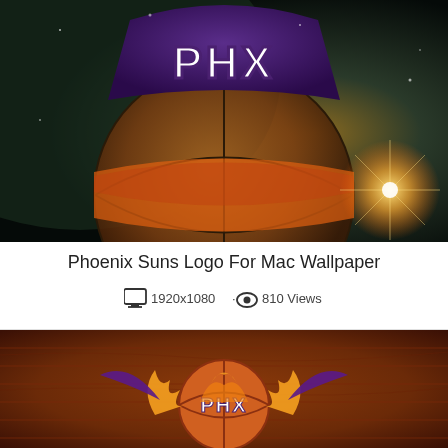[Figure (photo): Phoenix Suns PHX logo on dark space-themed background with glowing basketball and light flare]
Phoenix Suns Logo For Mac Wallpaper
1920x1080 · 810 Views
[Figure (photo): Phoenix Suns PHX logo with phoenix bird and basketball on wooden floor background]